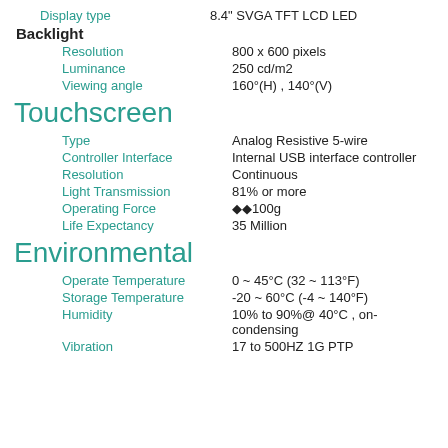Display type: 8.4" SVGA TFT LCD LED Backlight
Resolution: 800 x 600 pixels
Luminance: 250 cd/m2
Viewing angle: 160°(H) , 140°(V)
Touchscreen
Type: Analog Resistive 5-wire
Controller Interface: Internal USB interface controller
Resolution: Continuous
Light Transmission: 81% or more
Operating Force: ◆◆100g
Life Expectancy: 35 Million
Environmental
Operate Temperature: 0 ~ 45°C (32 ~ 113°F)
Storage Temperature: -20 ~ 60°C (-4 ~ 140°F)
Humidity: 10% to 90%@ 40°C , on-condensing
Vibration: 17 to 500HZ 1G PTP